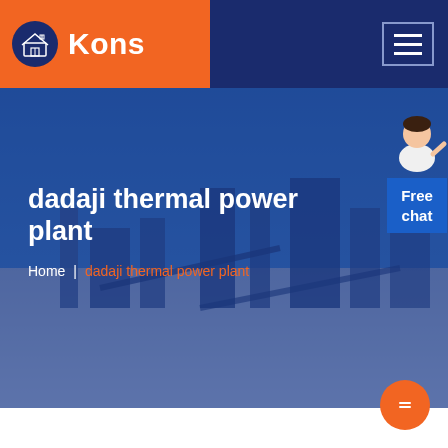[Figure (logo): Kons brand logo: orange rectangle background with dark navy circular icon showing a house/building graphic and the text 'Kons' in white bold font]
[Figure (screenshot): Website screenshot showing navigation bar with Kons logo on left and hamburger menu on right, hero banner with industrial quarry/mining power plant background image overlaid with dark blue tint, page title 'dadaji thermal power plant' in white bold text, breadcrumb navigation showing 'Home | dadaji thermal power plant', a free chat widget in the top right corner, and an orange circular button at the bottom right]
dadaji thermal power plant
Home | dadaji thermal power plant